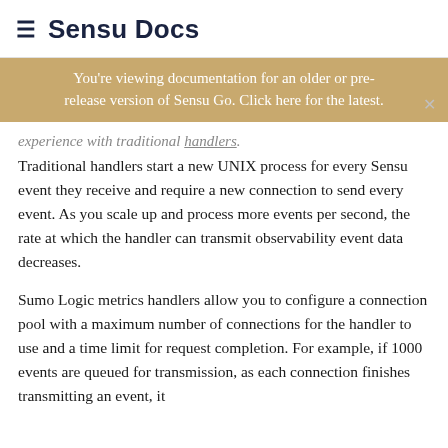≡ Sensu Docs
You're viewing documentation for an older or pre-release version of Sensu Go. Click here for the latest.
experience with traditional handlers.
Traditional handlers start a new UNIX process for every Sensu event they receive and require a new connection to send every event. As you scale up and process more events per second, the rate at which the handler can transmit observability event data decreases.
Sumo Logic metrics handlers allow you to configure a connection pool with a maximum number of connections for the handler to use and a time limit for request completion. For example, if 1000 events are queued for transmission, as each connection finishes transmitting an event, it